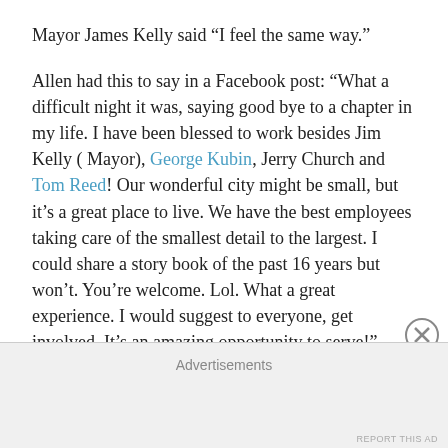Mayor James Kelly said “I feel the same way.”
Allen had this to say in a Facebook post: “What a difficult night it was, saying good bye to a chapter in my life. I have been blessed to work besides Jim Kelly ( Mayor), George Kubin, Jerry Church and Tom Reed! Our wonderful city might be small, but it’s a great place to live. We have the best employees taking care of the smallest detail to the largest. I could share a story book of the past 16 years but won’t. You’re welcome. Lol. What a great experience. I would suggest to everyone, get involved. It’s an amazing opportunity to serve!”
Newly elected councilmen Collison and Leonard officially take their seats at 7 p.m. Monday, Jan. 6.
Water tower antenna
Advertisements